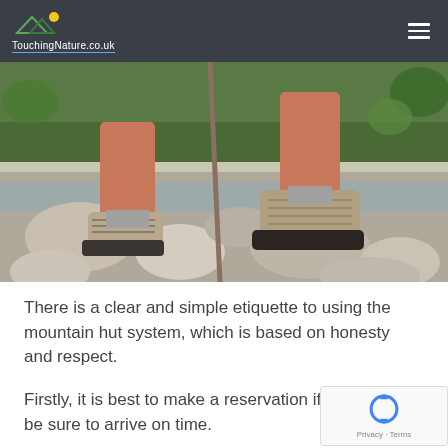TouchingNature.co.uk
[Figure (photo): Close-up of hiker's boots stepping on river rocks with water and greenery in background]
There is a clear and simple etiquette to using the mountain hut system, which is based on honesty and respect.
Firstly, it is best to make a reservation if possible, be sure to arrive on time.